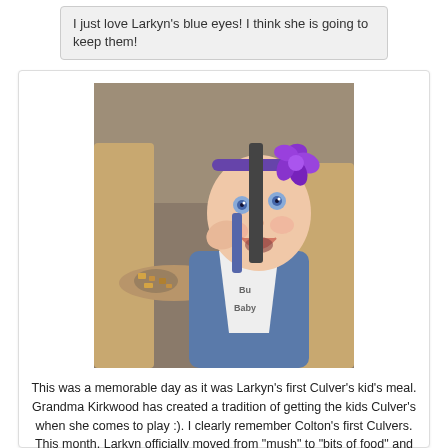I just love Larkyn's blue eyes!  I think she is going to keep them!
[Figure (photo): A smiling baby girl sitting in a high chair at a restaurant, wearing a purple flower headband and a bib that reads 'Baby', with food scattered on the tray in front of her.]
This was a memorable day as it was Larkyn's first Culver's kid's meal.  Grandma Kirkwood has created a tradition of getting the kids Culver's when she comes to play :).  I clearly remember Colton's first Culvers.  This month, Larkyn officially moved from "mush" to "bits of food" and she